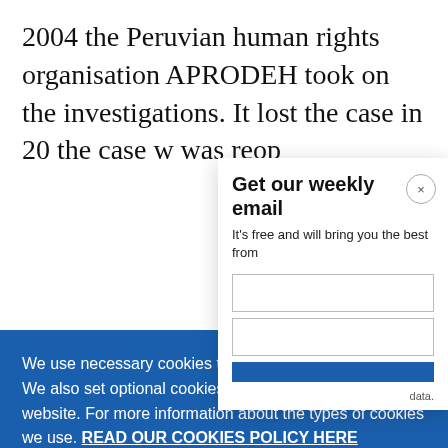2004 the Peruvian human rights organisation APRODEH took on the investigations. It lost the case in 20[...] the case w[...] was reop[...]
Get our weekly email
It's free and will bring you the best from
We use necessary cookies that allow our site to work. We also set optional cookies that help us improve our website. For more information about the types of cookies we use. READ OUR COOKIES POLICY HERE
COOKIE SETTINGS
ALLOW ALL COOKIES
data.
disappea